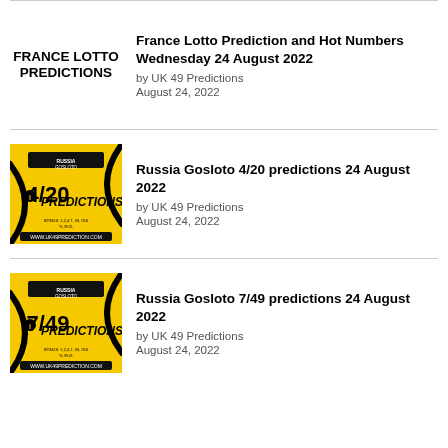[Figure (illustration): France Lotto Predictions text logo in bold black on white background]
France Lotto Prediction and Hot Numbers Wednesday 24 August 2022
by UK 49 Predictions
August 24, 2022
[Figure (illustration): Yellow card with Russia Gosloto 4/20 Predictions branding]
Russia Gosloto 4/20 predictions 24 August 2022
by UK 49 Predictions
August 24, 2022
[Figure (illustration): Yellow card with Russia Gosloto 7/49 Predictions branding]
Russia Gosloto 7/49 predictions 24 August 2022
by UK 49 Predictions
August 24, 2022